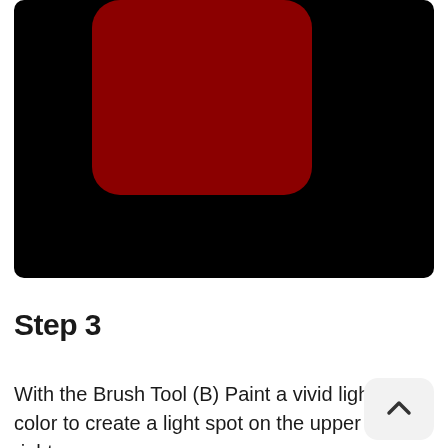[Figure (illustration): Black background with a dark red rounded rectangle shape (like a stop button icon) centered in the upper portion of the image.]
Step 3
With the Brush Tool (B) Paint a vivid light color to create a light spot on the upper right